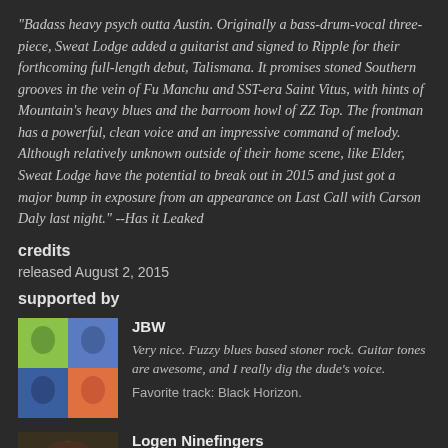"Badass heavy psych outta Austin. Originally a bass-drum-vocal three-piece, Sweat Lodge added a guitarist and signed to Ripple for their forthcoming full-length debut, Talismana. It promises stoned Southern grooves in the vein of Fu Manchu and SST-era Saint Vitus, with hints of Mountain's heavy blues and the barroom howl of ZZ Top. The frontman has a powerful, clean voice and an impressive command of melody. Although relatively unknown outside of their home scene, like Elder, Sweat Lodge have the potential to break out in 2015 and just got a major bump in exposure from an appearance on Last Call with Carson Daly last night." --Has it Leaked
credits
released August 2, 2015
supported by
JBW
Very nice. Fuzzy blues based stoner rock. Guitar tones are awesome, and I really dig the dude's voice.
Favorite track: Black Horizon.
Logen Ninefingers
Sweat Lodge turn up the heat on here updating the garage blues and heavy rock of the early 70's for the modern age.